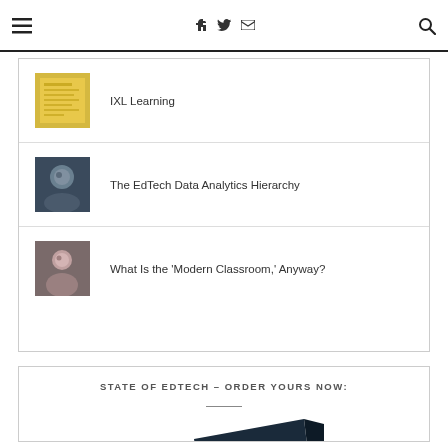≡  f  🐦  ✉  🔍
IXL Learning
The EdTech Data Analytics Hierarchy
What Is the 'Modern Classroom,' Anyway?
STATE OF EDTECH – ORDER YOURS NOW:
[Figure (photo): Partially visible book or report cover with dark background and teal/blue text reading 'ATE' visible at bottom, angled perspective]